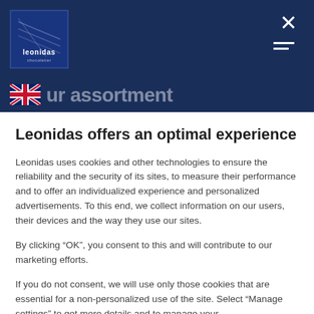[Figure (logo): Leonidas brand logo in dark blue square with decorative lines and 'leonidas' text]
[Figure (illustration): UK flag (Union Jack) icon for language selection]
Leonidas offers an optimal experience
Leonidas uses cookies and other technologies to ensure the reliability and the security of its sites, to measure their performance and to offer an individualized experience and personalized advertisements. To this end, we collect information on our users, their devices and the way they use our sites.
By clicking “OK”, you consent to this and will contribute to our marketing efforts.
If you do not consent, we will use only those cookies that are essential for a non-personalized use of the site. Select “Manage settings” to get more details and to manage your